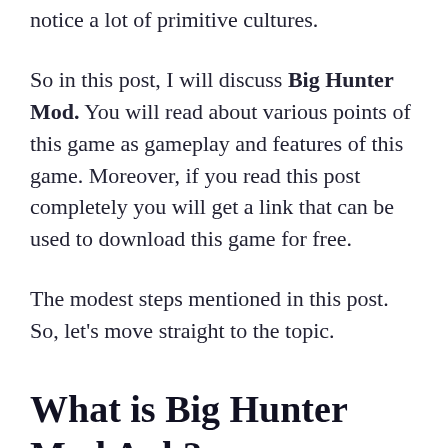notice a lot of primitive cultures.
So in this post, I will discuss Big Hunter Mod. You will read about various points of this game as gameplay and features of this game. Moreover, if you read this post completely you will get a link that can be used to download this game for free.
The modest steps mentioned in this post. So, let's move straight to the topic.
What is Big Hunter Mod Apk?